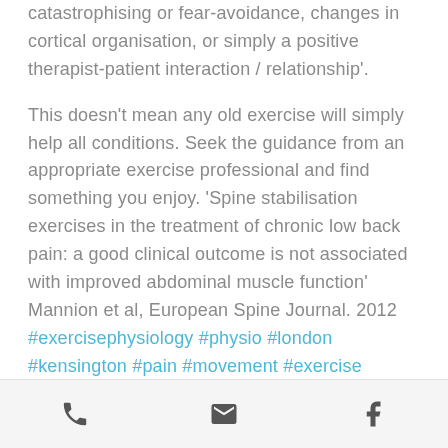catastrophising or fear-avoidance, changes in cortical organisation, or simply a positive therapist-patient interaction / relationship'.
This doesn't mean any old exercise will simply help all conditions. Seek the guidance from an appropriate exercise professional and find something you enjoy. 'Spine stabilisation exercises in the treatment of chronic low back pain: a good clinical outcome is not associated with improved abdominal muscle function' Mannion et al, European Spine Journal. 2012 #exercisephysiology #physio #london #kensington #pain #movement #exercise
phone | email | facebook